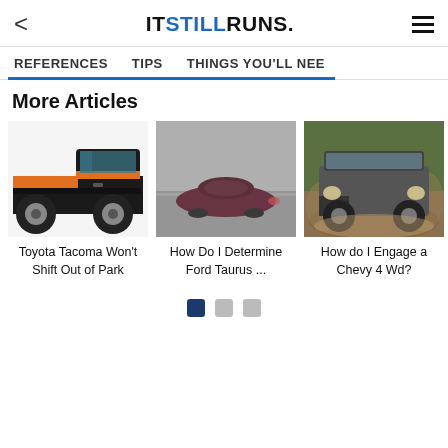< ITSTILLRUNS. ≡
REFERENCES   TIPS   THINGS YOU'LL NEED
More Articles
[Figure (illustration): Illustration of a Toyota Tacoma truck, orange and black side profile view]
Toyota Tacoma Won't Shift Out of Park
[Figure (photo): Photo of a dark maroon Ford Taurus sedan on a road, slightly blurred background]
How Do I Determine Ford Taurus ...
[Figure (photo): Photo of a Chevy 4WD SUV driving through muddy terrain with greenery in background]
How do I Engage a Chevy 4 Wd?